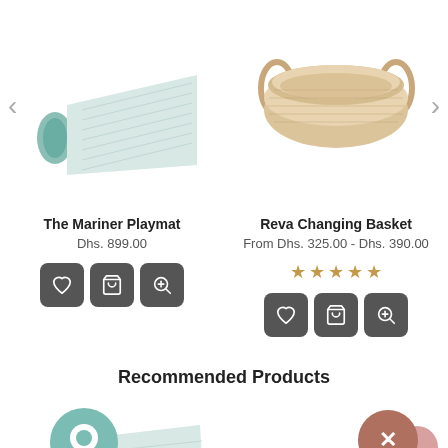[Figure (photo): The Mariner Playmat - folded/rolled mint green playmat]
[Figure (photo): Reva Changing Basket - oval woven rattan changing basket with handles]
The Mariner Playmat
Dhs. 899.00
[Figure (illustration): Action buttons: heart, cart, zoom for The Mariner Playmat]
Reva Changing Basket
From Dhs. 325.00 - Dhs. 390.00
[Figure (illustration): 5 star rating icons (brownish/gold color)]
[Figure (illustration): Action buttons: heart, cart, zoom for Reva Changing Basket]
Recommended Products
[Figure (photo): Bottom left: playmat product image with chat bubble overlay]
[Figure (illustration): Bottom right: close button (X) with pink circle decoration]